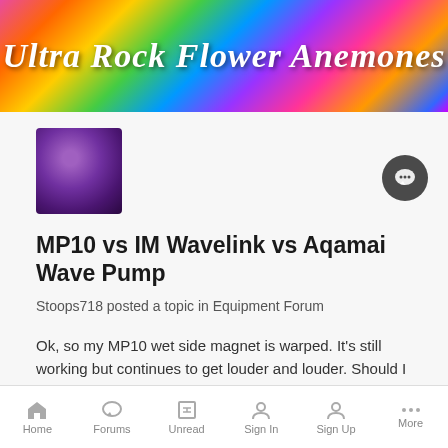Ultra Rock Flower Anemones
[Figure (photo): Avatar thumbnail showing purple anemone/coral image]
MP10 vs IM Wavelink vs Aqamai Wave Pump
Stoops718 posted a topic in Equipment Forum
Ok, so my MP10 wet side magnet is warped. It's still working but continues to get louder and louder. Should I replace the wet side or get
May 24, 2018   52 replies   1
powerhead
wavemaker
[Figure (illustration): Pink Kirby-like avatar icon with rosy cheeks]
Anemone Parents: Wavemaker? Current USA
Home   Forums   Unread   Sign In   Sign Up   More